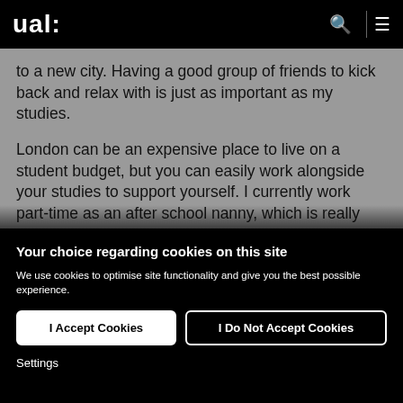ual:
to a new city. Having a good group of friends to kick back and relax with is just as important as my studies.
London can be an expensive place to live on a student budget, but you can easily work alongside your studies to support yourself. I currently work part-time as an after school nanny, which is really
Your choice regarding cookies on this site
We use cookies to optimise site functionality and give you the best possible experience.
I Accept Cookies
I Do Not Accept Cookies
Settings